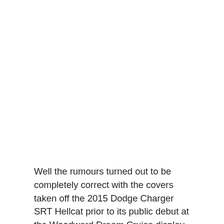Well the rumours turned out to be completely correct with the covers taken off the 2015 Dodge Charger SRT Hellcat prior to its public debut at the Woodward Dream Cruise display on August 16. As the name suggests, the Charger SRT Hellcat follows on from the Challenger SRT Hellcat and utilises many the same components in...